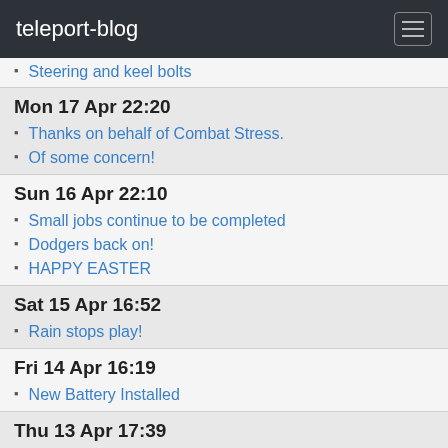teleport-blog
Steering and keel bolts
Mon 17 Apr 22:20
Thanks on behalf of Combat Stress.
Of some concern!
Sun 16 Apr 22:10
Small jobs continue to be completed
Dodgers back on!
HAPPY EASTER
Sat 15 Apr 16:52
Rain stops play!
Fri 14 Apr 16:19
New Battery Installed
Thu 13 Apr 17:39
Thursday update
Wed 12 Apr 18:05
New fuel tank fittings